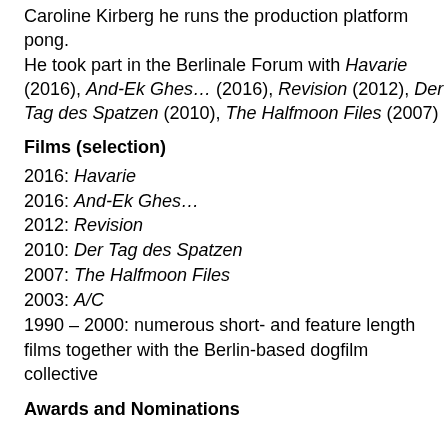Caroline Kirberg he runs the production platform pong. He took part in the Berlinale Forum with Havarie (2016), And-Ek Ghes… (2016), Revision (2012), Der Tag des Spatzen (2010), The Halfmoon Files (2007)
Films (selection)
2016: Havarie
2016: And-Ek Ghes…
2012: Revision
2010: Der Tag des Spatzen
2007: The Halfmoon Files
2003: A/C
1990 – 2000: numerous short- and feature length films together with the Berlin-based dogfilm collective
Awards and Nominations